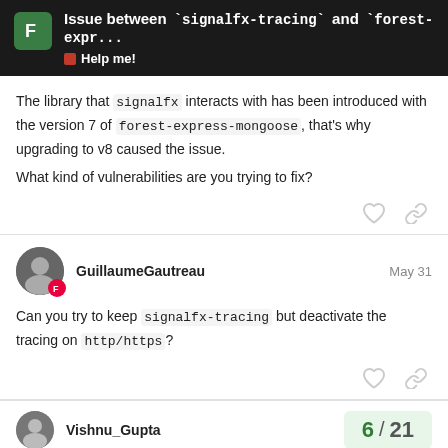Issue between `signalfx-tracing` and `forest-expr... Help me!
The library that signalfx interacts with has been introduced with the version 7 of forest-express-mongoose, that's why upgrading to v8 caused the issue.

What kind of vulnerabilities are you trying to fix?
GuillaumeGautreau  May 31
Can you try to keep signalfx-tracing but deactivate the tracing on http/https?
Vishnu_Gupta  6 / 21